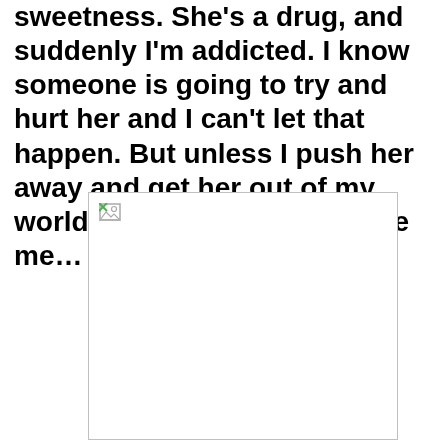sweetness. She's a drug, and suddenly I'm addicted. I know someone is going to try and hurt her and I can't let that happen. But unless I push her away and get her out of my world, that someone could be me…
[Figure (illustration): A broken/missing image placeholder with a small broken image icon in the top-left corner, displayed as a white rectangle with a light gray border.]